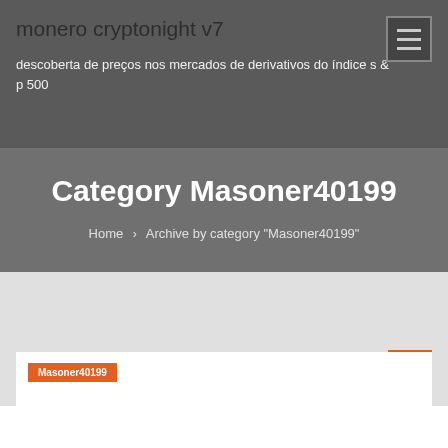monero cryptonight v7
descoberta de preços nos mercados de derivativos do índice s & p 500
Category Masoner40199
Home › Archive by category "Masoner40199"
Masoner40199